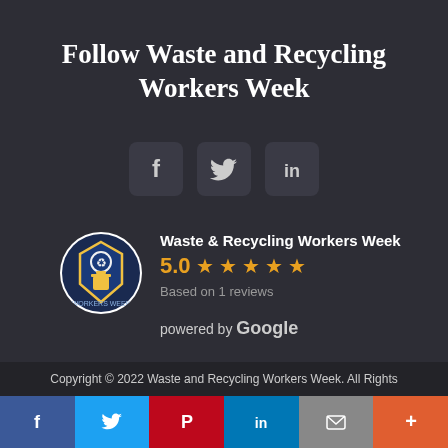Follow Waste and Recycling Workers Week
[Figure (infographic): Three social media icon buttons: Facebook (f), Twitter (bird), LinkedIn (in), displayed as rounded square icons on dark background]
[Figure (infographic): Google review widget showing Waste & Recycling Workers Week logo, 5.0 star rating with 5 orange stars, 'Based on 1 reviews', 'powered by Google', and a 'review us on Google' button]
Copyright © 2022 Waste and Recycling Workers Week. All Rights
[Figure (infographic): Bottom share bar with Facebook, Twitter, Pinterest, LinkedIn, Email, and More (+) buttons in colored blocks]